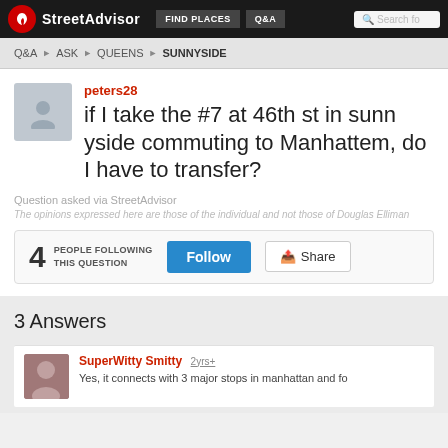StreetAdvisor | FIND PLACES | Q&A | Search for...
Q&A ▶ ASK ▶ QUEENS ▶ SUNNYSIDE
peters28
if I take the #7 at 46th st in sunnyside commuting to Manhattem, do I have to transfer?
Question asked via StreetAdvisor
The opinions expressed here are those of the individual and not those of Douglas Elliman
4 PEOPLE FOLLOWING THIS QUESTION
3 Answers
SuperWitty Smitty 2yrs+
Yes, it connects with 3 major stops in manhattan and f...